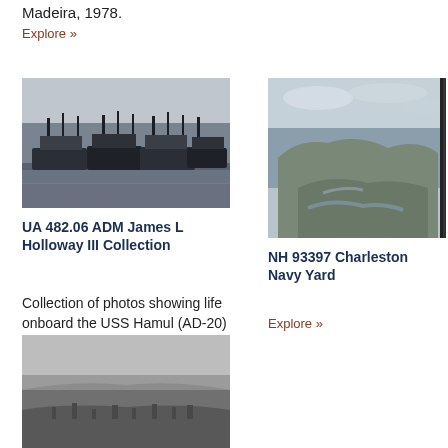Madeira, 1978.
Explore »
[Figure (photo): Black and white photograph of multiple ships docked together at sea.]
UA 482.06 ADM James L Holloway III Collection
Collection of photos showing life onboard the USS Hamul (AD-20) & USS Altair (AD-11) during WWII. Many photos show cr…
Explore »
[Figure (photo): Black and white aerial photograph of Charleston Navy Yard showing coastline and waterways.]
NH 93397 Charleston Navy Yard
Explore »
[Figure (photo): Black and white aerial photograph of a city or landscape, partially visible at bottom of page.]